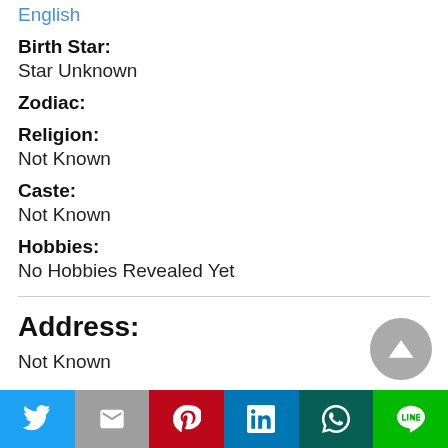English
Birth Star:
Star Unknown
Zodiac:
Religion:
Not Known
Caste:
Not Known
Hobbies:
No Hobbies Revealed Yet
Address:
Not Known